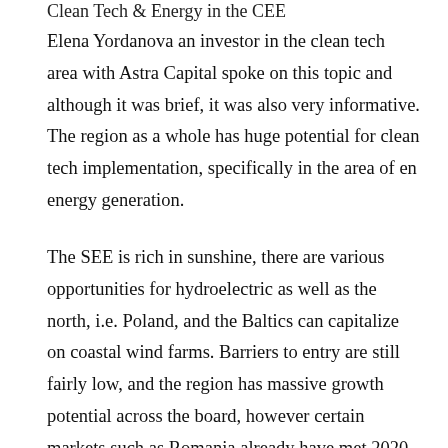Clean Tech & Energy in the CEE
Elena Yordanova an investor in the clean tech area with Astra Capital spoke on this topic and although it was brief, it was also very informative. The region as a whole has huge potential for clean tech implementation, specifically in the area of en energy generation.
The SEE is rich in sunshine, there are various opportunities for hydroelectric as well as the north, i.e. Poland, and the Baltics can capitalize on coastal wind farms. Barriers to entry are still fairly low, and the region has massive growth potential across the board, however certain markets such as Romania already have met 2020 targets and